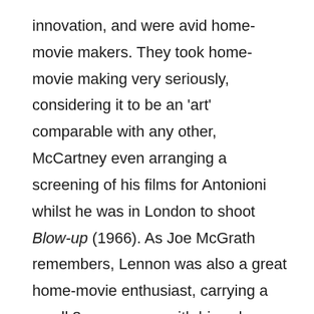innovation, and were avid home-movie makers. They took home-movie making very seriously, considering it to be an 'art' comparable with any other, McCartney even arranging a screening of his films for Antonioni whilst he was in London to shoot Blow-up (1966). As Joe McGrath remembers, Lennon was also a great home-movie enthusiast, carrying a small 8mm camera with him wherever he went with the progressive and (as it has since transpired) somewhat prophetic philosophy that 'there will come a time when you will be able to use a film camera like a biro. You take it out, you use it and then you put it away again.'31 It is perfectly possible that the group wanted to include home-